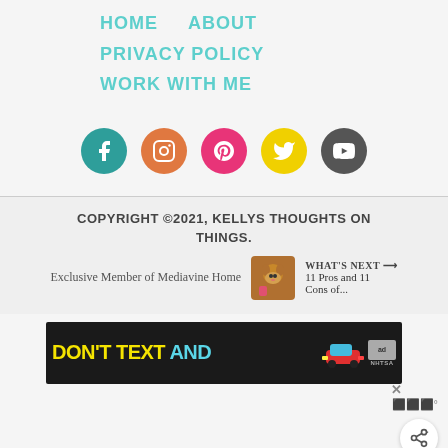HOME   ABOUT
PRIVACY POLICY
WORK WITH ME
[Figure (illustration): Row of five social media icons: Facebook (teal), Instagram (orange), Pinterest (pink/red), Twitter (yellow), YouTube (dark gray)]
COPYRIGHT ©2021, KELLYS THOUGHTS ON THINGS.
Exclusive Member of Mediavine Home
WHAT'S NEXT → 11 Pros and 11 Cons of...
[Figure (infographic): DON'T TEXT AND [car graphic] ad banner with NHTSA logo]